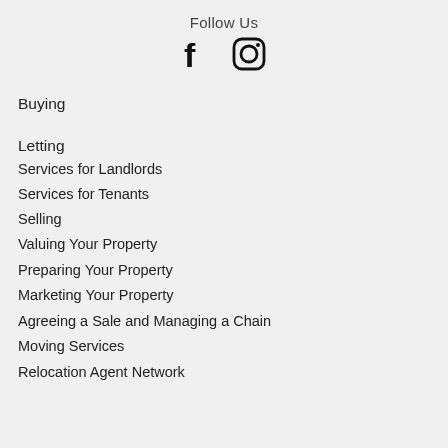Follow Us
[Figure (illustration): Facebook and Instagram social media icons]
Buying
Letting
Services for Landlords
Services for Tenants
Selling
Valuing Your Property
Preparing Your Property
Marketing Your Property
Agreeing a Sale and Managing a Chain
Moving Services
Relocation Agent Network